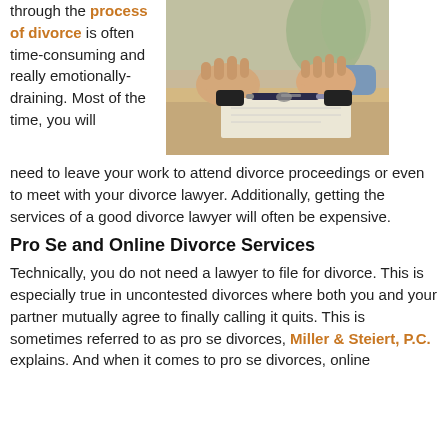through the process of divorce is often time-consuming and really emotionally-draining. Most of the time, you will need to leave your work to attend divorce proceedings or even to meet with your divorce lawyer. Additionally, getting the services of a good divorce lawyer will often be expensive.
[Figure (photo): Two people sitting at a table with clasped hands facing each other, with car keys and a pen visible on a document between them, suggesting a divorce negotiation or legal meeting.]
Pro Se and Online Divorce Services
Technically, you do not need a lawyer to file for divorce. This is especially true in uncontested divorces where both you and your partner mutually agree to finally calling it quits. This is sometimes referred to as pro se divorces, Miller & Steiert, P.C. explains. And when it comes to pro se divorces, online